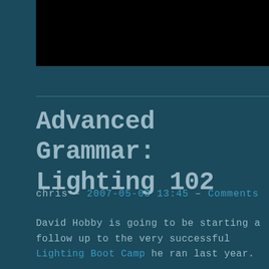[Figure (photo): Dark/black image block at the top of the page]
Advanced Grammar: Lighting 102
chris — 2007-05-03 13:45 — Comments
David Hobby is going to be starting a follow up to the very successful Lighting Boot Camp he ran last year.